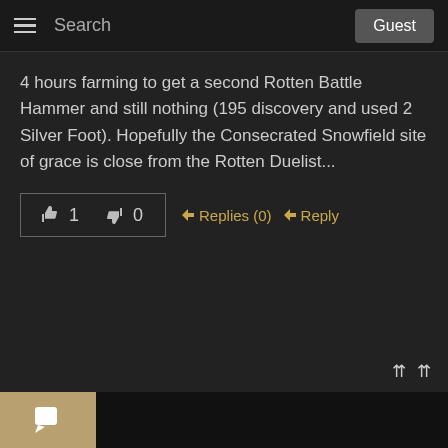Search  Guest
4 hours farming to get a second Rotten Battle Hammer and still nothing (195 discovery and used 2 Silver Foot). Hopefully the Consecrated Snowfield site of grace is close from the Rotten Duelist...
👍 1   👎 0   ➤Replies (0)   ➤Reply